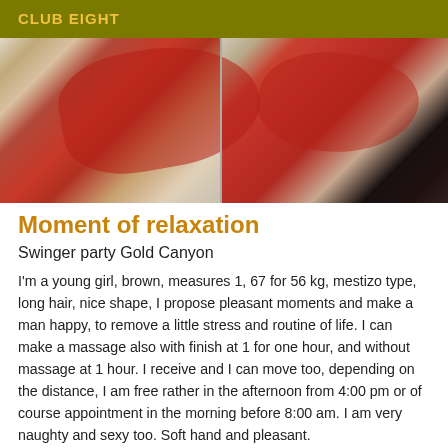CLUB EIGHT
[Figure (photo): Two-panel photograph showing a person in a red lace garment/fan, split image composition]
Moment of relaxation
Swinger party Gold Canyon
I'm a young girl, brown, measures 1, 67 for 56 kg, mestizo type, long hair, nice shape, I propose pleasant moments and make a man happy, to remove a little stress and routine of life. I can make a massage also with finish at 1 for one hour, and without massage at 1 hour. I receive and I can move too, depending on the distance, I am free rather in the afternoon from 4:00 pm or of course appointment in the morning before 8:00 am. I am very naughty and sexy too. Soft hand and pleasant.